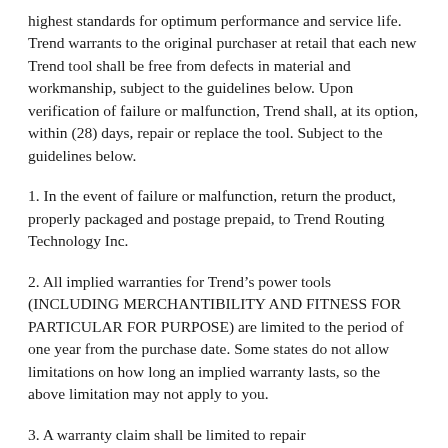highest standards for optimum performance and service life. Trend warrants to the original purchaser at retail that each new Trend tool shall be free from defects in material and workmanship, subject to the guidelines below. Upon verification of failure or malfunction, Trend shall, at its option, within (28) days, repair or replace the tool. Subject to the guidelines below.
1. In the event of failure or malfunction, return the product, properly packaged and postage prepaid, to Trend Routing Technology Inc.
2. All implied warranties for Trend's power tools (INCLUDING MERCHANTIBILITY AND FITNESS FOR PARTICULAR FOR PURPOSE) are limited to the period of one year from the purchase date. Some states do not allow limitations on how long an implied warranty lasts, so the above limitation may not apply to you.
3. A warranty claim shall be limited to repair